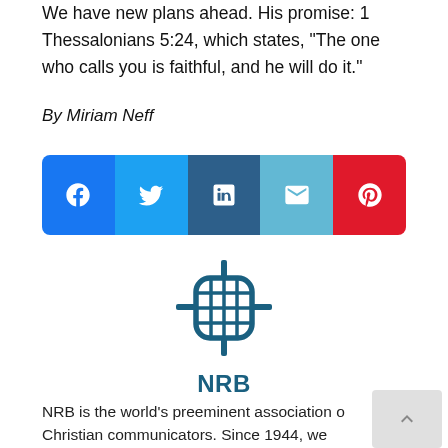We have new plans ahead. His promise: 1 Thessalonians 5:24, which states, “The one who calls you is faithful, and he will do it.”
By Miriam Neff
[Figure (infographic): Social share buttons row: Facebook (blue), Twitter (light blue), LinkedIn (dark blue), Email (light teal), Pinterest (red)]
[Figure (logo): NRB globe microphone icon in dark teal]
NRB
NRB is the world's preeminent association o Christian communicators. Since 1944, we have